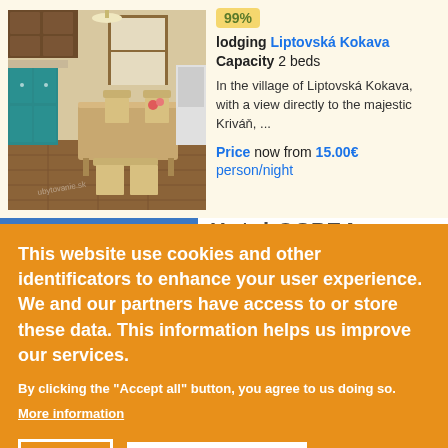[Figure (photo): Interior photo of a kitchen/dining room with blue cabinets, wooden dining table and chairs, hardwood floors]
99%
lodging Liptovská Kokava
Capacity 2 beds
In the village of Liptovská Kokava, with a view directly to the majestic Kriváň, ...
Price now from 15.00€ person/night
This website use cookies and other identificators to enhance your user experience. We and our partners have access to or store these data. This information helps us improve our services.
By clicking the "Accept all" button, you agree to us doing so.
More information
EDIT
ACCEPT ALL